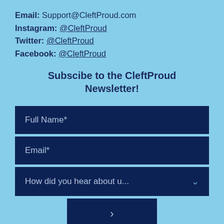Email: Support@CleftProud.com
Instagram: @CleftProud
Twitter: @CleftProud
Facebook: @CleftProud
Subscibe to the CleftProud Newsletter!
Full Name*
Email*
How did you hear about u...
>